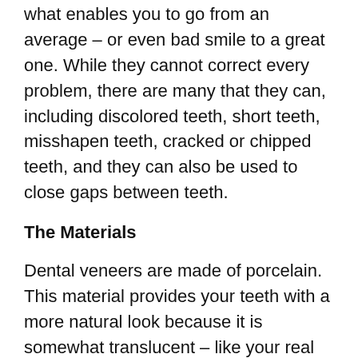what enables you to go from an average – or even bad smile to a great one. While they cannot correct every problem, there are many that they can, including discolored teeth, short teeth, misshapen teeth, cracked or chipped teeth, and they can also be used to close gaps between teeth.
The Materials
Dental veneers are made of porcelain. This material provides your teeth with a more natural look because it is somewhat translucent – like your real teeth. After a scan is made of your teeth, or possibly after a mold is taken, it is sent to a lab to be made. They are sent back in a week or two and the dentist will put them on.
Another type of veneer is made of composite resin material. This is the same material that is used for white tooth fillings. The dental veneers dentist Long Island will apply the material directly on your teeth layer by layer.